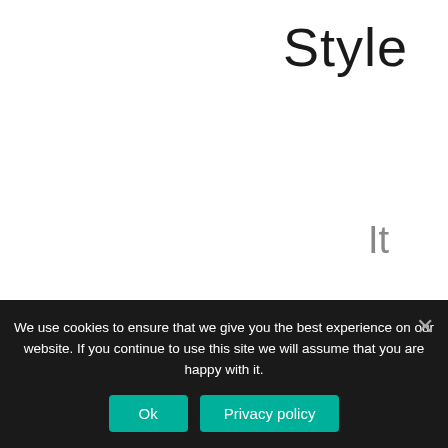Style
It is wise to use a maxi
We use cookies to ensure that we give you the best experience on our website. If you continue to use this site we will assume that you are happy with it.